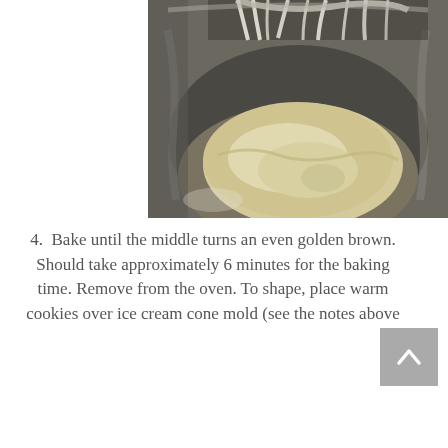[Figure (photo): Close-up photo of pale cookie or wafer batter in a stainless steel mixing bowl, with a stand mixer whisk attachment visible at the top mixing the batter.]
4.  Bake until the middle turns an even golden brown. Should take approximately 6 minutes for the baking time. Remove from the oven. To shape, place warm cookies over ice cream cone mold (see the notes above